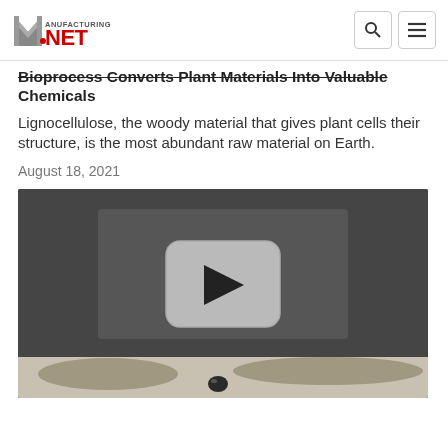Manufacturing.Net
Bioprocess Converts Plant Materials Into Valuable Chemicals
Lignocellulose, the woody material that gives plant cells their structure, is the most abundant raw material on Earth.
August 18, 2021
[Figure (screenshot): Video thumbnail with a play button overlay, showing a dark background with a laboratory object visible at the bottom.]